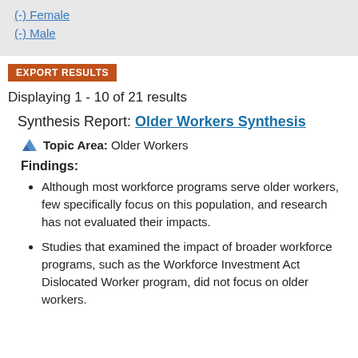(-) Female
(-) Male
EXPORT RESULTS
Displaying 1 - 10 of 21 results
Synthesis Report: Older Workers Synthesis
Topic Area: Older Workers
Findings:
Although most workforce programs serve older workers, few specifically focus on this population, and research has not evaluated their impacts.
Studies that examined the impact of broader workforce programs, such as the Workforce Investment Act Dislocated Worker program, did not focus on older workers.